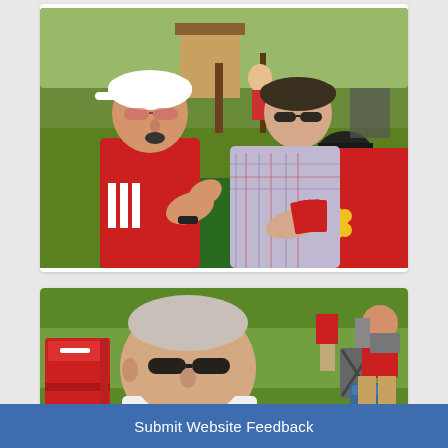[Figure (photo): Two older men sitting at a table outdoors playing cards. Left man wears a white baseball cap and red polo shirt with white stripes. Right man wears a dark cap, sunglasses, and a plaid shirt. They sit at a green table with a red tablecloth visible. A white cup is on the table. Background shows green grass, a shed, and outdoor chairs.]
[Figure (photo): Outdoor scene showing an older man in a white t-shirt and sunglasses seated in the foreground. Background shows green lawn, people standing, folding chairs, a cooler, and a person in red at top right.]
Submit Website Feedback